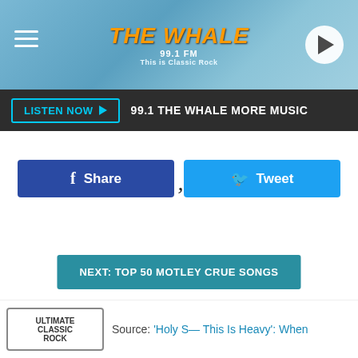THE WHALE 99.1 FM - This is Classic Rock
LISTEN NOW ▶   99.1 THE WHALE MORE MUSIC
[Figure (screenshot): Facebook Share button and Twitter Tweet button]
[Figure (other): Loading spinner character (apostrophe/loading indicator)]
NEXT: TOP 50 MOTLEY CRUE SONGS
[Figure (logo): Ultimate Classic Rock logo]
Source: 'Holy S— This Is Heavy': When